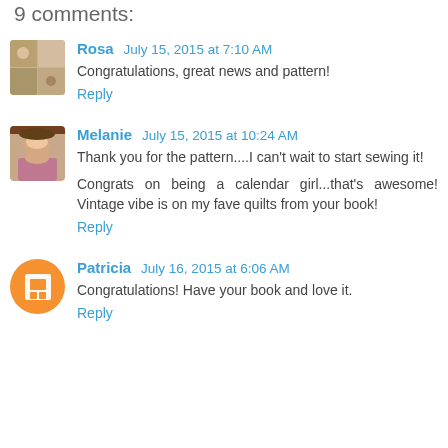9 comments:
Rosa   July 15, 2015 at 7:10 AM
Congratulations, great news and pattern!
Reply
Melanie   July 15, 2015 at 10:24 AM
Thank you for the pattern....I can't wait to start sewing it!
Congrats on being a calendar girl...that's awesome! Vintage vibe is on my fave quilts from your book!
Reply
Patricia   July 16, 2015 at 6:06 AM
Congratulations! Have your book and love it.
Reply